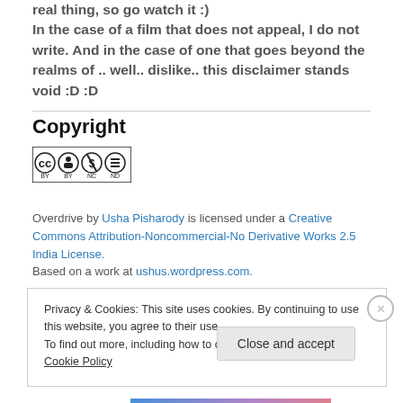real thing, so go watch it :)
In the case of a film that does not appeal, I do not write. And in the case of one that goes beyond the realms of .. well.. dislike.. this disclaimer stands void :D :D
Copyright
[Figure (logo): Creative Commons BY NC ND license badge]
Overdrive by Usha Pisharody is licensed under a Creative Commons Attribution-Noncommercial-No Derivative Works 2.5 India License.
Based on a work at ushus.wordpress.com.
Privacy & Cookies: This site uses cookies. By continuing to use this website, you agree to their use.
To find out more, including how to control cookies, see here: Cookie Policy